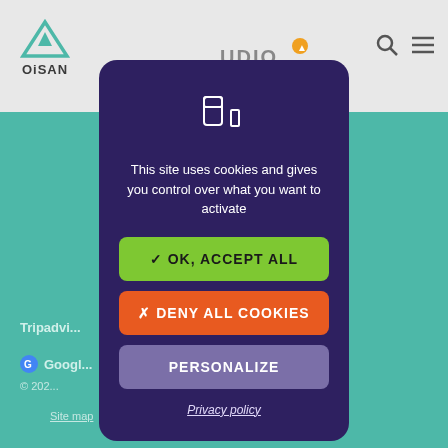[Figure (screenshot): Website background showing OiSAN navigation bar with logo, search icon, and hamburger menu. Teal/green background with footer links including Tripadvisor, Google, copyright notice, Site map and Information about cookies links.]
This site uses cookies and gives you control over what you want to activate
✓ OK, ACCEPT ALL
✗ DENY ALL COOKIES
PERSONALIZE
Privacy policy